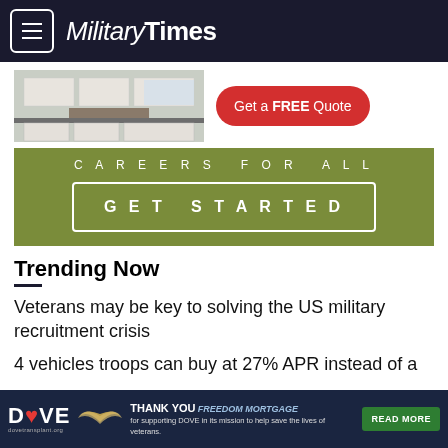MilitaryTimes
[Figure (photo): Kitchen interior advertisement with 'Get a FREE Quote' red button]
[Figure (infographic): Olive green 'CAREERS FOR ALL' banner with 'GET STARTED' button]
Trending Now
Veterans may be key to solving the US military recruitment crisis
4 vehicles troops can buy at 27% APR instead of a
[Figure (infographic): DOVE / Freedom Mortgage thank you banner at bottom: 'THANK YOU FREEDOM MORTGAGE for supporting DOVE in its mission to help save the lives of veterans.' with READ MORE button]